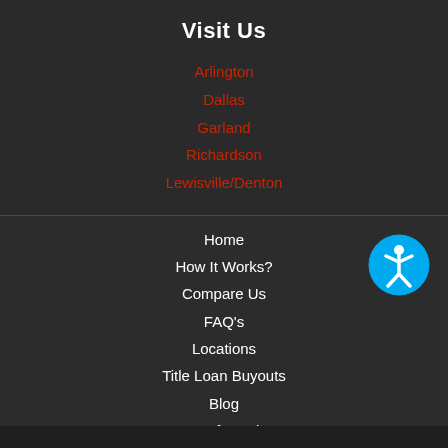Visit Us
Arlington
Dallas
Garland
Richardson
Lewisville/Denton
Home
How It Works?
Compare Us
FAQ's
Locations
Title Loan Buyouts
Blog
Cars for Sale